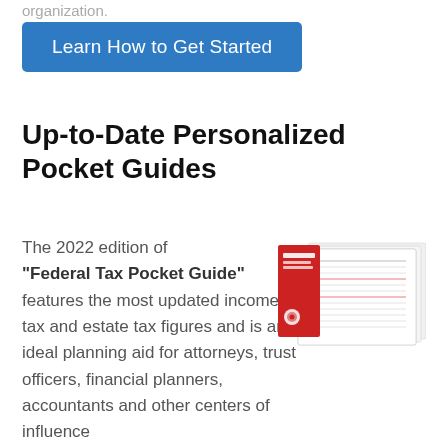organization.
Learn How to Get Started
Up-to-Date Personalized Pocket Guides
The 2022 edition of "Federal Tax Pocket Guide" features the most updated income tax and estate tax figures and is an ideal planning aid for attorneys, trust officers, financial planners, accountants and other centers of influence
[Figure (photo): Image of the 2022 Federal Tax Pocket Guide booklet shown folded open, with a red cover and multiple interior pages displaying tax tables and figures.]